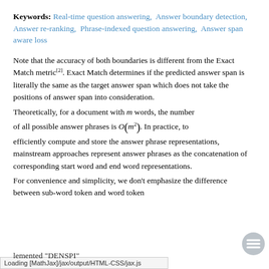Keywords: Real-time question answering, Answer boundary detection, Answer re-ranking, Phrase-indexed question answering, Answer span aware loss
Note that the accuracy of both boundaries is different from the Exact Match metric[2]. Exact Match determines if the predicted answer span is literally the same as the target answer span which does not take the positions of answer span into consideration.
Theoretically, for a document with m words, the number of all possible answer phrases is O(m²). In practice, to efficiently compute and store the answer phrase representations, mainstream approaches represent answer phrases as the concatenation of corresponding start word and end word representations.
For convenience and simplicity, we don't emphasize the difference between sub-word token and word token ... implemented "DENSPI"